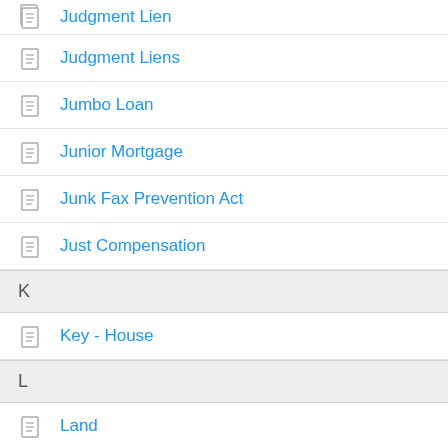Judgment Lien
Judgment Liens
Jumbo Loan
Junior Mortgage
Junk Fax Prevention Act
Just Compensation
K
Key - House
L
Land
Land Improvements